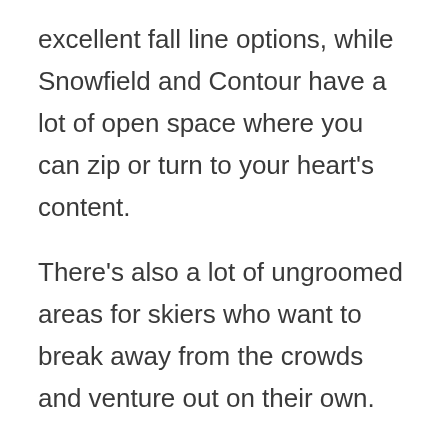excellent fall line options, while Snowfield and Contour have a lot of open space where you can zip or turn to your heart's content.
There's also a lot of ungroomed areas for skiers who want to break away from the crowds and venture out on their own.
While Marquette Mountain is a good distance from the Detroit area, it's not as busy as you would first think.
That makes it a nice place for people who want to take a break from the everyday